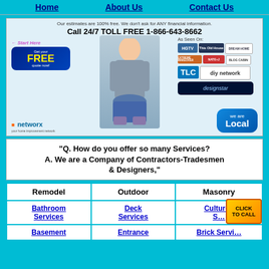Home | About Us | Contact Us
[Figure (infographic): Networx advertisement banner with contractor photo, free quote button, TV network logos (HGTV, This Old House, Dream Home, Extreme Makeover, Nate & Jerrod, Blog Cabin, TLC, DIY Network, Design Star), We Are Local badge. Text: Our estimates are 100% free. We don't ask for ANY financial information. Call 24/7 TOLL FREE 1-866-643-8662]
"Q. How do you offer so many Services? A. We are a Company of Contractors-Tradesmen & Designers,"
| Remodel | Outdoor | Masonry |
| --- | --- | --- |
| Bathroom Services | Deck Services | Cultured S... |
| Basement | Entrance | Brick Servi... |